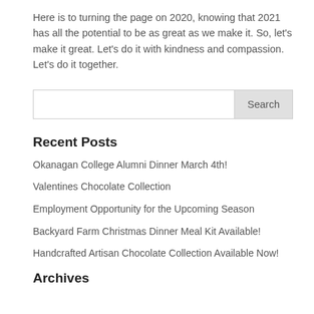Here is to turning the page on 2020, knowing that 2021 has all the potential to be as great as we make it. So, let's make it great. Let's do it with kindness and compassion. Let's do it together.
Search
Recent Posts
Okanagan College Alumni Dinner March 4th!
Valentines Chocolate Collection
Employment Opportunity for the Upcoming Season
Backyard Farm Christmas Dinner Meal Kit Available!
Handcrafted Artisan Chocolate Collection Available Now!
Archives